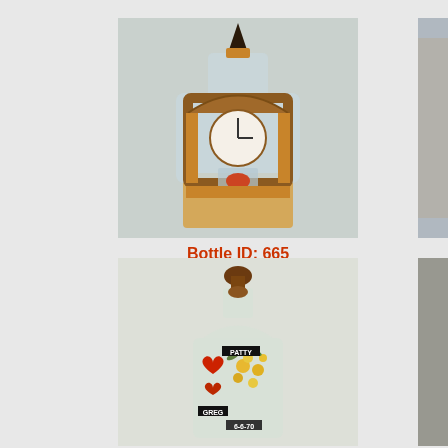[Figure (photo): A decorative bottle shaped and painted to look like a grandfather clock, with an ornate wooden frame design, clock face, and pendulum detail. The bottle has a dark pointed stopper at the top.]
Bottle ID: 665
[Figure (photo): A clear glass bottle with a dark brown wooden chess-piece-style stopper. The bottle contains decorative elements including hearts and floral/leaf designs, with labels reading 'PATTY', 'GREG', and '6-6-70'.]
[Figure (photo): Partial image visible on right edge of page - appears to show a figure or statue.]
[Figure (photo): Partial image visible on right edge of page (bottom) - indistinct content.]